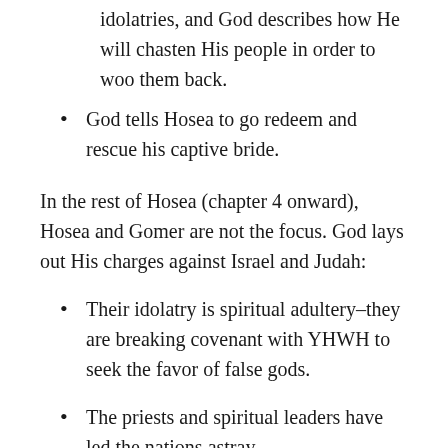idolatries, and God describes how He will chasten His people in order to woo them back.
God tells Hosea to go redeem and rescue his captive bride.
In the rest of Hosea (chapter 4 onward), Hosea and Gomer are not the focus. God lays out His charges against Israel and Judah:
Their idolatry is spiritual adultery–they are breaking covenant with YHWH to seek the favor of false gods.
The priests and spiritual leaders have led the nations astray.
Their corruption is deep; bloodshed (for example